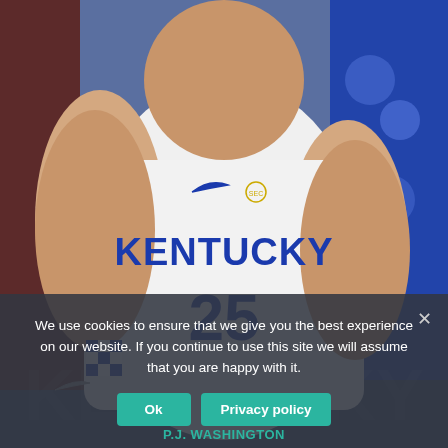[Figure (photo): Basketball player wearing a white Kentucky #25 jersey with blue lettering, showing muscular arms, in an arena setting with blurred crowd in background.]
We use cookies to ensure that we give you the best experience on our website. If you continue to use this site we will assume that you are happy with it.
Ok
Privacy policy
P.J. WASHINGTON